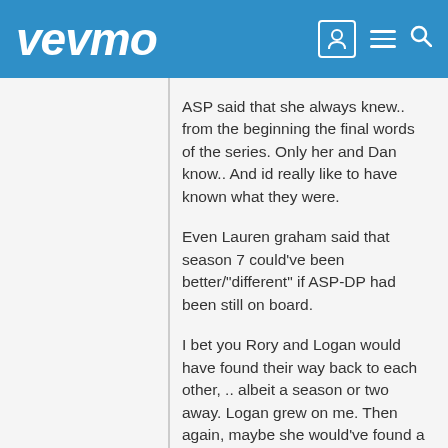vevmo
ASP said that she always knew.. from the beginning the final words of the series. Only her and Dan know.. And id really like to have known what they were.
Even Lauren graham said that season 7 could've been better/"different" if ASP-DP had been still on board.
I bet you Rory and Logan would have found their way back to each other, .. albeit a season or two away. Logan grew on me. Then again, maybe she would've found a new guy.. hm.. I did love Rory and Logan though.